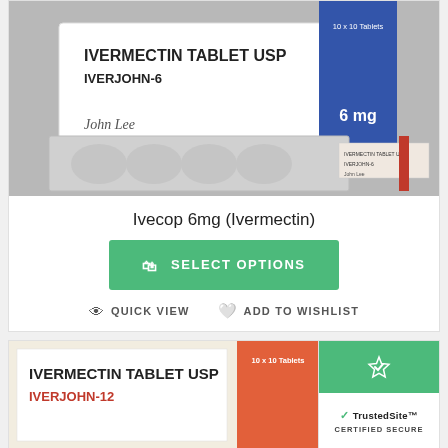[Figure (photo): Product photo of Ivermectin Tablet USP Iverjohn-6 6mg blister pack and box]
Ivecop 6mg (Ivermectin)
SELECT OPTIONS
QUICK VIEW  ADD TO WISHLIST
[Figure (photo): Partial product photo of Ivermectin Tablet USP Iverjohn-12 with orange box]
[Figure (logo): TrustedSite Certified Secure badge]